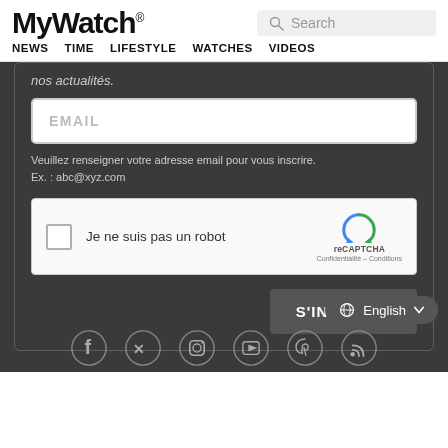MyWatch® | NEWS  TIME  LIFESTYLE  WATCHES  VIDEOS | Search
nos actualités.
EMAIL
Veuillez renseigner votre adresse email pour vous inscrire.
Ex. : abc@xyz.com
[Figure (other): reCAPTCHA widget with checkbox 'Je ne suis pas un robot']
S'INSCRIRE
English
[Figure (other): Social media icons row: Facebook, Twitter, Instagram, YouTube, Pinterest, RSS]